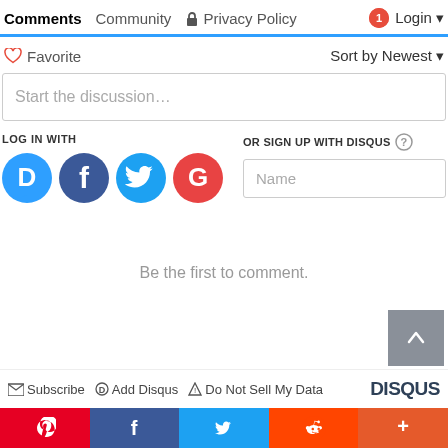Comments  Community  Privacy Policy  Login
Favorite  Sort by Newest
Start the discussion...
LOG IN WITH
OR SIGN UP WITH DISQUS
Name
Be the first to comment.
Subscribe  Add Disqus  Do Not Sell My Data  DISQUS